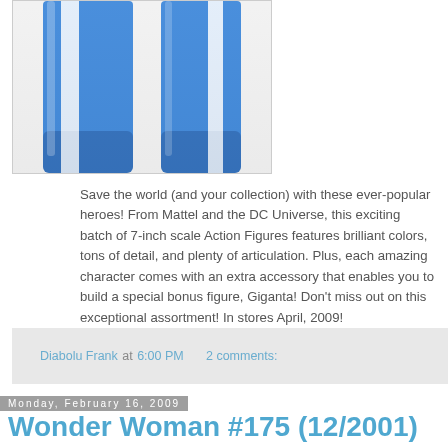[Figure (photo): Partial view of action figure legs in blue and white costume with boots]
Save the world (and your collection) with these ever-popular heroes! From Mattel and the DC Universe, this exciting batch of 7-inch scale Action Figures features brilliant colors, tons of detail, and plenty of articulation. Plus, each amazing character comes with an extra accessory that enables you to build a special bonus figure, Giganta! Don't miss out on this exceptional assortment! In stores April, 2009!
Diabolu Frank at 6:00 PM   2 comments:
Monday, February 16, 2009
Wonder Woman #175 (12/2001)